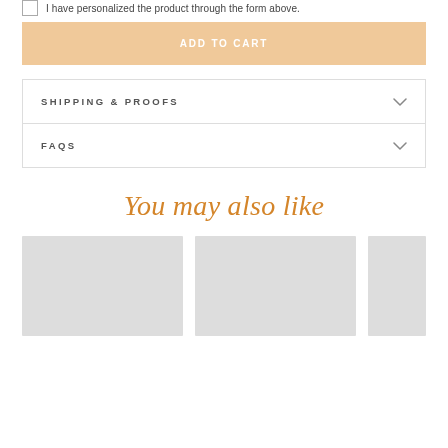I have personalized the product through the form above.
ADD TO CART
SHIPPING & PROOFS
FAQS
You may also like
[Figure (photo): Three product thumbnail placeholder images in a row]